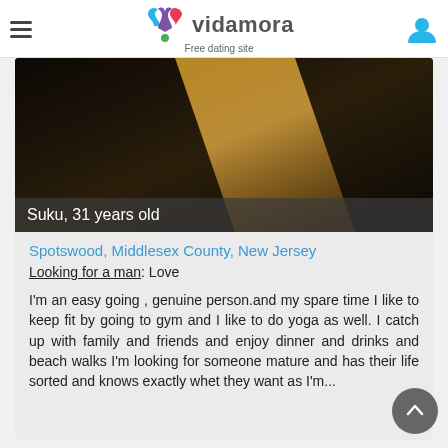vidamora — Free dating site
[Figure (photo): Profile photo of Suku, a dating site user, showing a dark background with warm tones. Overlay text: Suku, 31 years old]
Spotswood, Middlesex County, New Jersey
Looking for a man: Love
I'm an easy going , genuine person.and my spare time I like to keep fit by going to gym and I like to do yoga as well. I catch up with family and friends and enjoy dinner and drinks and beach walks I'm looking for someone mature and has their life sorted and knows exactly whet they want as I'm...